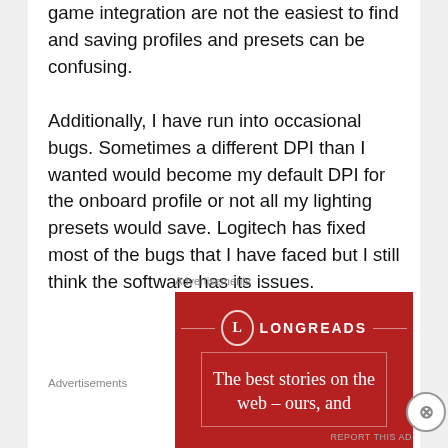game integration are not the easiest to find and saving profiles and presets can be confusing.
Additionally, I have run into occasional bugs. Sometimes a different DPI than I wanted would become my default DPI for the onboard profile or not all my lighting presets would save. Logitech has fixed most of the bugs that I have faced but I still think the software has its issues.
Advertisements
[Figure (other): Longreads advertisement banner with red background. Shows the Longreads logo (circle with L) and tagline: The best stories on the web – ours, and]
Advertisements